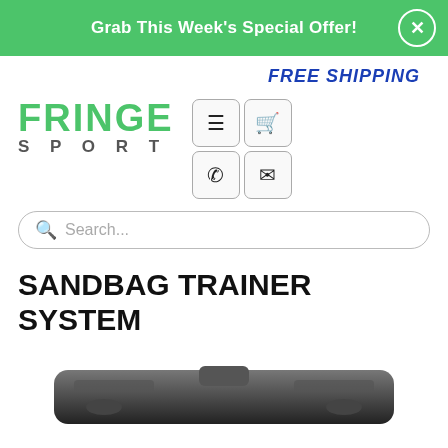Grab This Week's Special Offer!
FREE SHIPPING
[Figure (logo): Fringe Sport logo with green FRINGE text and grey SPORT text below]
Search...
SANDBAG TRAINER SYSTEM
[Figure (photo): Partial view of a black sandbag trainer system product]